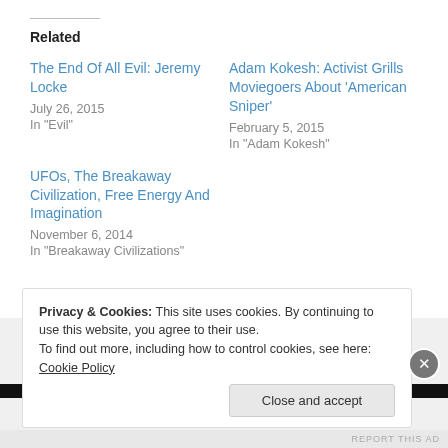Related
The End Of All Evil: Jeremy Locke
July 26, 2015
In "Evil"
Adam Kokesh: Activist Grills Moviegoers About 'American Sniper'
February 5, 2015
In "Adam Kokesh"
UFOs, The Breakaway Civilization, Free Energy And Imagination
November 6, 2014
In "Breakaway Civilizations"
Privacy & Cookies: This site uses cookies. By continuing to use this website, you agree to their use.
To find out more, including how to control cookies, see here: Cookie Policy
Close and accept
REPORT THIS AD